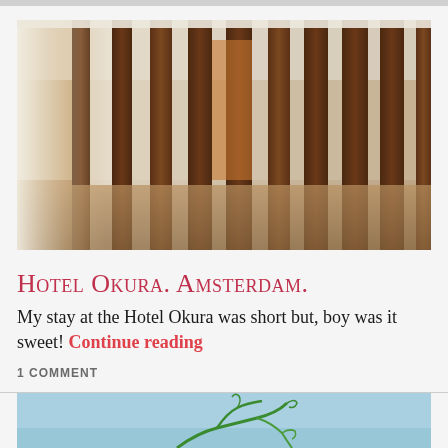[Figure (photo): Interior photo of Hotel Okura Amsterdam showing a corridor with dark wooden vertical panels/slats alternating with white spaces, wooden floor, creating a striking geometric pattern. Light streams in from the left side.]
Hotel Okura. Amsterdam.
My stay at the Hotel Okura was short but, boy was it sweet! Continue reading
1 COMMENT
[Figure (photo): Partial view of a second blog post image showing a light blue sky background with green plant/vine illustration at the bottom.]